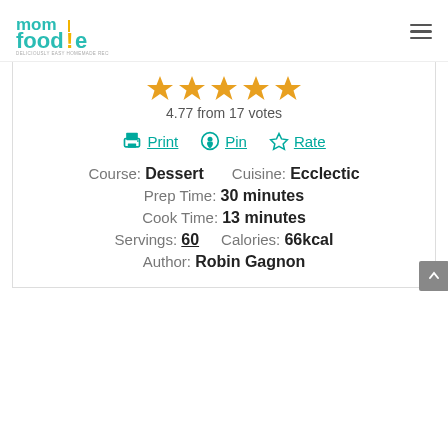[Figure (logo): Mom Foodie logo with teal and yellow text reading 'mom foodie' and tagline 'DELICIOUSLY EASY HOMEMADE RECIPES']
[Figure (other): Five orange star rating icons]
4.77 from 17 votes
Print  Pin  Rate
Course: Dessert    Cuisine: Ecclectic
Prep Time: 30 minutes
Cook Time: 13 minutes
Servings: 60    Calories: 66kcal
Author: Robin Gagnon